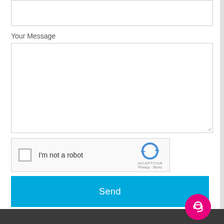[Figure (screenshot): Partial text input field at top of a contact form]
Your Message
[Figure (screenshot): Large textarea for message input]
[Figure (other): reCAPTCHA widget with checkbox labeled I'm not a robot and reCAPTCHA logo with Privacy and Terms links]
Send
[Figure (other): Pink circular support/chat button at bottom right of page over dark footer bar]